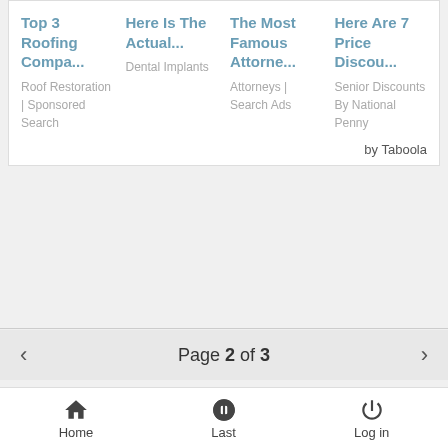Top 3 Roofing Compa...
Roof Restoration | Sponsored Search
Here Is The Actual...
Dental Implants
The Most Famous Attorne...
Attorneys | Search Ads
Here Are 7 Price Discou...
Senior Discounts By National Penny
by Taboola
Page 2 of 3
Home  Last  Log in